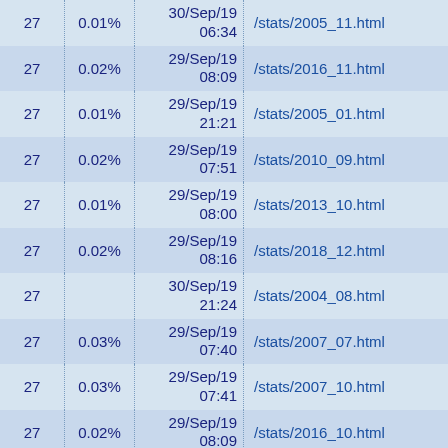| 27 | 0.01% | 30/Sep/19 06:34 | /stats/2005_11.html |
| 27 | 0.02% | 29/Sep/19 08:09 | /stats/2016_11.html |
| 27 | 0.01% | 29/Sep/19 21:21 | /stats/2005_01.html |
| 27 | 0.02% | 29/Sep/19 07:51 | /stats/2010_09.html |
| 27 | 0.01% | 29/Sep/19 08:00 | /stats/2013_10.html |
| 27 | 0.02% | 29/Sep/19 08:16 | /stats/2018_12.html |
| 27 |  | 30/Sep/19 21:24 | /stats/2004_08.html |
| 27 | 0.03% | 29/Sep/19 07:40 | /stats/2007_07.html |
| 27 | 0.03% | 29/Sep/19 07:41 | /stats/2007_10.html |
| 27 | 0.02% | 29/Sep/19 08:09 | /stats/2016_10.html |
| 26 | 0.01% | 29/Sep/19 22:44 | /StonewallCar.html |
| 26 | 0.02% | 29/Sep/19 08:07 | /stats/2016_05.html |